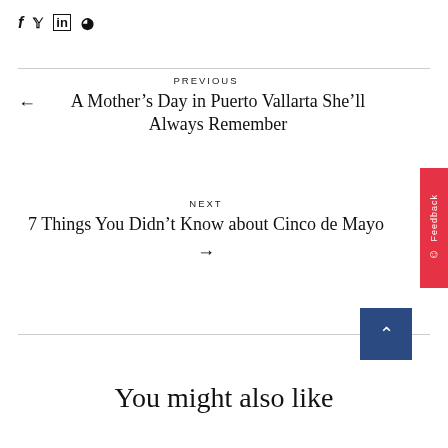[Figure (other): Social media share icons: f (Facebook), bird/twitter, in (LinkedIn), Pinterest circle]
PREVIOUS
← A Mother's Day in Puerto Vallarta She'll Always Remember
NEXT
7 Things You Didn't Know about Cinco de Mayo →
[Figure (other): Feedback tab button on right side, red background]
[Figure (other): Scroll to top button, dark blue square with up caret]
You might also like